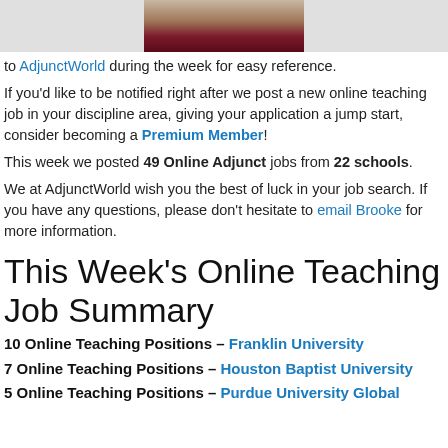[Figure (photo): Partial photo of a person, cropped at top of page]
to AdjunctWorld during the week for easy reference.
If you'd like to be notified right after we post a new online teaching job in your discipline area, giving your application a jump start, consider becoming a Premium Member!
This week we posted 49 Online Adjunct jobs from 22 schools.
We at AdjunctWorld wish you the best of luck in your job search. If you have any questions, please don't hesitate to email Brooke for more information.
This Week's Online Teaching Job Summary
10 Online Teaching Positions – Franklin University
7 Online Teaching Positions – Houston Baptist University
5 Online Teaching Positions – Purdue University Global